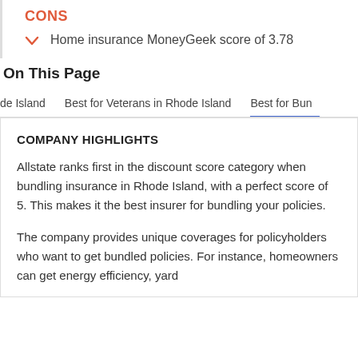CONS
Home insurance MoneyGeek score of 3.78
On This Page
de Island   Best for Veterans in Rhode Island   Best for Bun
COMPANY HIGHLIGHTS
Allstate ranks first in the discount score category when bundling insurance in Rhode Island, with a perfect score of 5. This makes it the best insurer for bundling your policies.
The company provides unique coverages for policyholders who want to get bundled policies. For instance, homeowners can get energy efficiency, yard